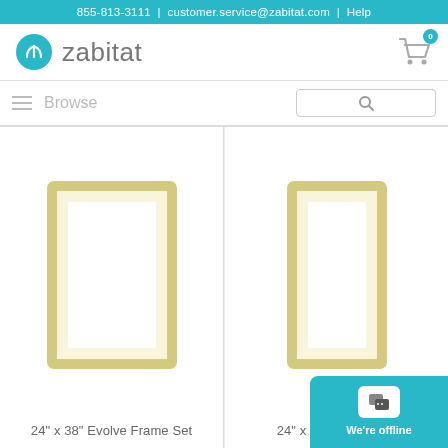855-813-3111 | customer.service@zabitat.com | Help
[Figure (logo): Zabitat logo with teal circular icon and text 'zabitat']
Browse
[Figure (illustration): 24" x 38" Evolve Frame Set product image showing a portrait-orientation window frame outline in cream/gold color]
24" x 38" Evolve Frame Set
[Figure (illustration): 24" x 66" Evolve Frame product image showing a tall portrait-orientation window frame outline in cream/gold color]
24" x 66" Evolve Fra